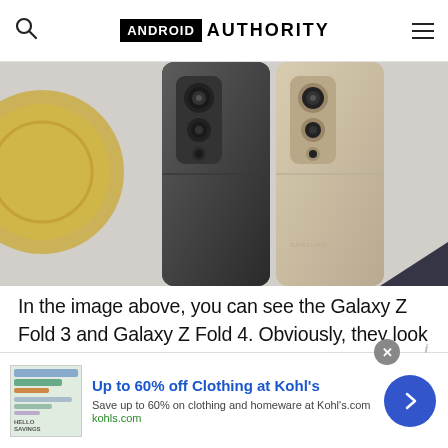Android Authority
[Figure (photo): Top-down view of two Samsung Galaxy Z Fold smartphones (Fold 3 in dark/graphite and Fold 4 in light/beige) lying on a white surface, showing their rear camera bumps]
In the image above, you can see the Galaxy Z Fold 3 and Galaxy Z Fold 4. Obviously, they look incredibly similar. Truth be told, Samsung only made very subtle refinements to the Galaxy Z Fold
[Figure (infographic): Advertisement banner: Up to 60% off Clothing at Kohl's. Save up to 60% on clothing and homeware at Kohls.com. kohls.com]